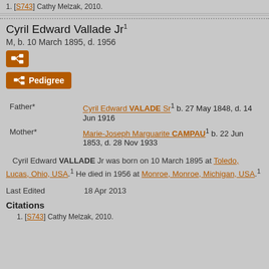1. [S743] Cathy Melzak, 2010.
Cyril Edward Vallade Jr
M, b. 10 March 1895, d. 1956
[Figure (other): Small icon button with pedigree/family tree icon]
Pedigree
| Relation | Person |
| --- | --- |
| Father* | Cyril Edward VALADE Sr1 b. 27 May 1848, d. 14 Jun 1916 |
| Mother* | Marie-Joseph Marguarite CAMPAU1 b. 22 Jun 1853, d. 28 Nov 1933 |
Cyril Edward VALLADE Jr was born on 10 March 1895 at Toledo, Lucas, Ohio, USA.1 He died in 1956 at Monroe, Monroe, Michigan, USA.1
Last Edited   18 Apr 2013
Citations
1. [S743] Cathy Melzak, 2010.